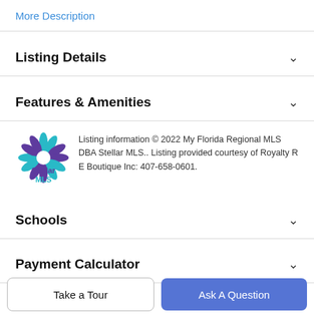More Description
Listing Details
Features & Amenities
Listing information © 2022 My Florida Regional MLS DBA Stellar MLS.. Listing provided courtesy of Royalty R E Boutique Inc: 407-658-0601.
Schools
Payment Calculator
Contact Agent
Take a Tour
Ask A Question